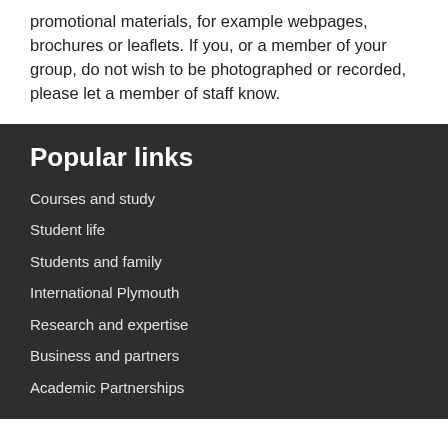promotional materials, for example webpages, brochures or leaflets. If you, or a member of your group, do not wish to be photographed or recorded, please let a member of staff know.
Popular links
Courses and study
Student life
Students and family
International Plymouth
Research and expertise
Business and partners
Academic Partnerships